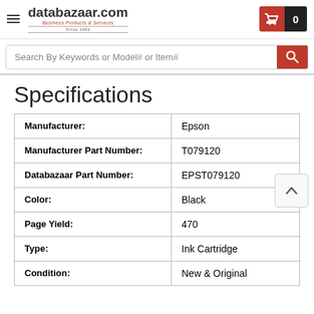databazaar.com — Business Products & Services · Since 1999
Search By Keywords or Model# or Item#
Specifications
|  |  |
| --- | --- |
| Manufacturer: | Epson |
| Manufacturer Part Number: | T079120 |
| Databazaar Part Number: | EPST079120 |
| Color: | Black |
| Page Yield: | 470 |
| Type: | Ink Cartridge |
| Condition: | New & Original |